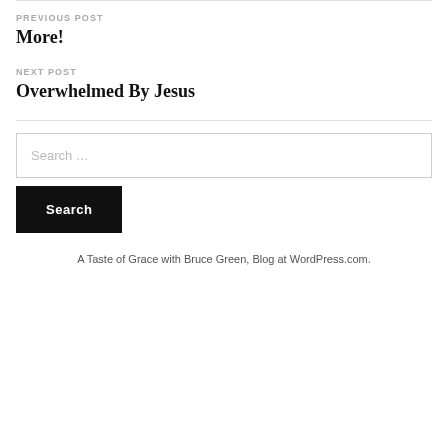PREVIOUS POST
More!
NEXT POST
Overwhelmed By Jesus
Search …
Search
A Taste of Grace with Bruce Green, Blog at WordPress.com.